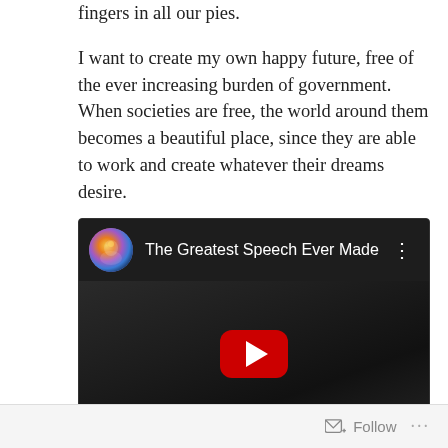fingers in all our pies.
I want to create my own happy future, free of the ever increasing burden of government. When societies are free, the world around them becomes a beautiful place, since they are able to work and create whatever their dreams desire.
[Figure (screenshot): YouTube video embed titled 'The Greatest Speech Ever Made' with a channel avatar, video title, three-dot menu, and a play button overlaid on a dark screenshot of a man speaking.]
Follow ...